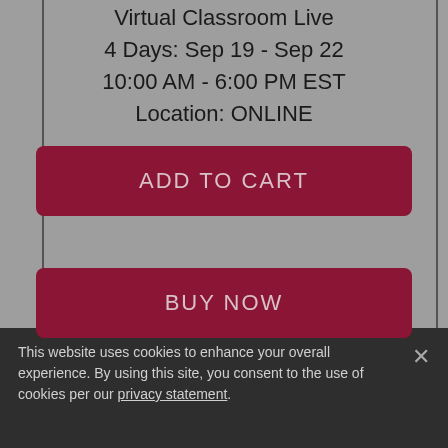Virtual Classroom Live
4 Days: Sep 19 - Sep 22
10:00 AM - 6:00 PM EST
Location: ONLINE
ADD TO CART
BUY NOW
This website uses cookies to enhance your overall experience. By using this site, you consent to the use of cookies per our privacy statement.